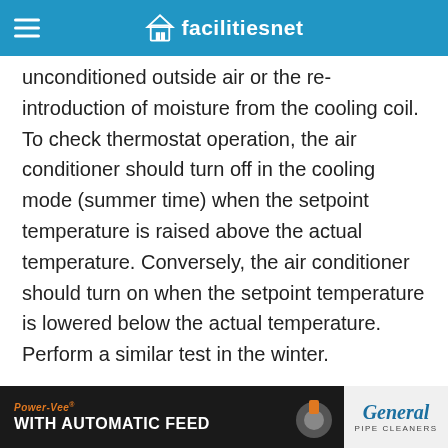facilitiesnet
on and off with the compressor, a situation that is beneficial for preventing the introduction of unconditioned outside air or the re-introduction of moisture from the cooling coil. To check thermostat operation, the air conditioner should turn off in the cooling mode (summer time) when the setpoint temperature is raised above the actual temperature. Conversely, the air conditioner should turn on when the setpoint temperature is lowered below the actual temperature. Perform a similar test in the winter.
[Figure (illustration): Kanopi by Armstrong Ceilings advertisement banner with blue background and white logo]
[Figure (illustration): General Pipe Cleaners Power-Vee with Automatic Feed bottom advertisement banner]